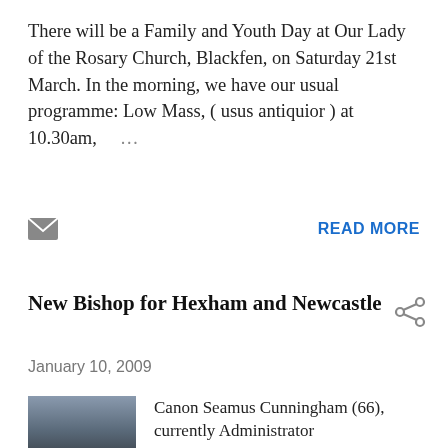There will be a Family and Youth Day at Our Lady of the Rosary Church, Blackfen, on Saturday 21st March. In the morning, we have our usual programme: Low Mass, ( usus antiquior ) at 10.30am, ...
READ MORE
New Bishop for Hexham and Newcastle
January 10, 2009
Canon Seamus Cunningham (66), currently Administrator of the Diocese of Hexham...